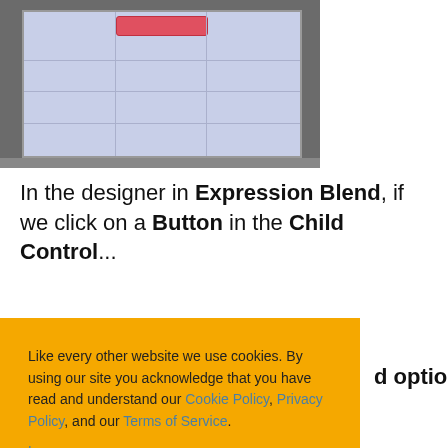[Figure (screenshot): Screenshot of Expression Blend designer showing a grid/table layout with a red button at the top center, gray and blue-gray background panels with grid lines.]
In the designer in Expression Blend, if we click on a Button in the Child Control...
Like every other website we use cookies. By using our site you acknowledge that you have read and understand our Cookie Policy, Privacy Policy, and our Terms of Service. Learn more
d options next